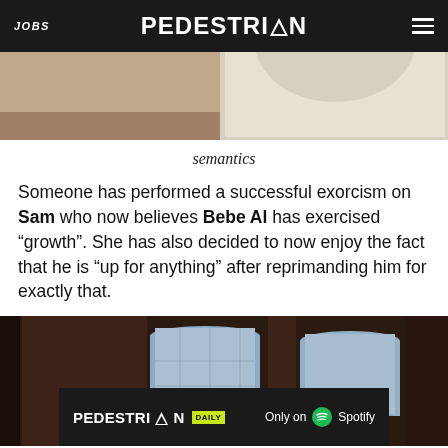JOBS | PEDESTRIAN | menu
[Figure (photo): Top portion of a photo showing people, cropped — only bottom portion visible]
semantics
Someone has performed a successful exorcism on Sam who now believes Bebe Al has exercised “growth”. She has also decided to now enjoy the fact that he is “up for anything” after reprimanding him for exactly that.
[Figure (photo): Photo of a brick building interior with arched windows looking out onto a city street]
[Figure (other): Advertisement banner: PEDESTRIAN DAILY — Only on Spotify]